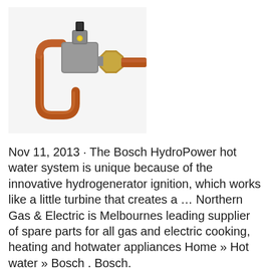[Figure (photo): A Bosch HydroPower water valve component with copper pipes bent in a loop on the left, a grey solenoid/hydrogenerator body in the center top, and a brass fitting/nut on the right, on a white background.]
Nov 11, 2013 · The Bosch HydroPower hot water system is unique because of the innovative hydrogenerator ignition, which works like a little turbine that creates a … Northern Gas & Electric is Melbournes leading supplier of spare parts for all gas and electric cooking, heating and hotwater appliances Home » Hot water » Bosch . Bosch.